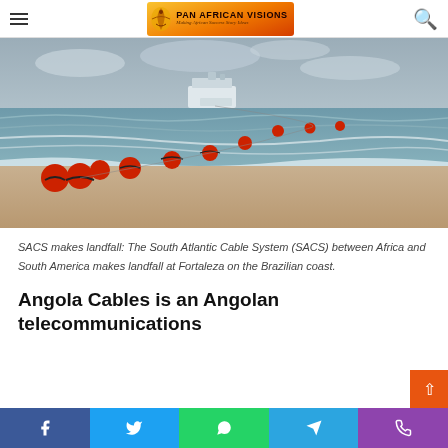Pan African Visions — Making African Success Story Ideas
[Figure (photo): SACS cable making landfall at Fortaleza beach, Brazil — orange buoys strung in a line from the sea to the shore, with a cable-laying ship visible in the background on overcast waters.]
SACS makes landfall: The South Atlantic Cable System (SACS) between Africa and South America makes landfall at Fortaleza on the Brazilian coast.
Angola Cables is an Angolan telecommunications